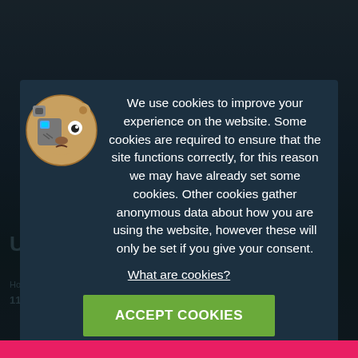[Figure (illustration): Bear mascot logo — cartoon bear face with robot/cyborg left side, angry expression, inside a circular badge]
We use cookies to improve your experience on the website. Some cookies are required to ensure that the site functions correctly, for this reason we may have already set some cookies. Other cookies gather anonymous data about how you are using the website, however these will only be set if you give your consent.
What are cookies?
ACCEPT COOKIES